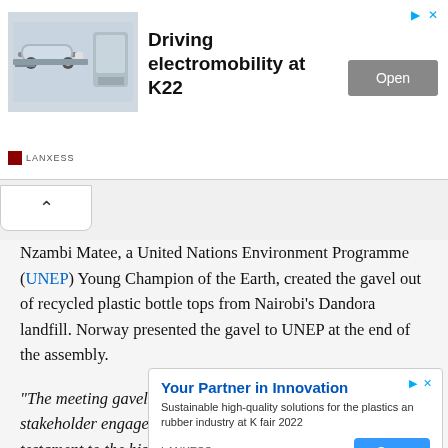[Figure (screenshot): Top advertisement banner for LANXESS featuring an electric car and text 'Driving electromobility at K22' with an Open button]
Nzambi Matee, a United Nations Environment Programme (UNEP) Young Champion of the Earth, created the gavel out of recycled plastic bottle tops from Nairobi's Dandora landfill. Norway presented the gavel to UNEP at the end of the assembly.
"The meeting gavel is a symbol of circular economy, stakeholder engagement, multilateral cooperation, and is a testament to the historic decision at UNEA-5.2 to end plastic pollution," said Norway's ambassador to Kenya, Gunnar Andreas Holm.
The pla... s of
[Figure (screenshot): Popup advertisement for LANXESS: 'Your Partner in Innovation — Sustainable high-quality solutions for the plastics and rubber industry at K fair 2022' with Open button]